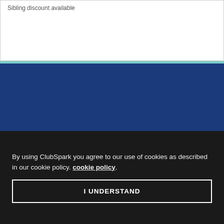Sibling discount available
CAMBRIDGE TENNIS ACADEMY
[Figure (other): Social media icons: Facebook, Twitter, Instagram in grey circles on dark blue background]
[Figure (logo): LTA Tennis logo - white geometric logo with TENNIS text]
By using ClubSpark you agree to our use of cookies as described in our cookie policy. cookie policy.
I UNDERSTAND